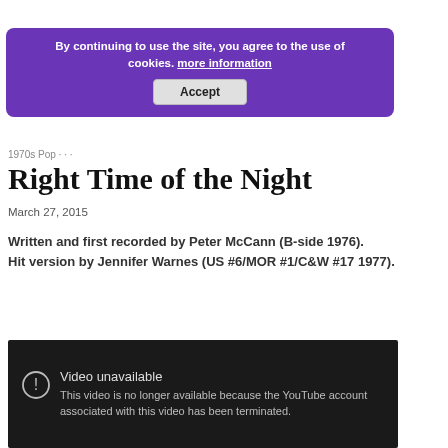[Figure (screenshot): Cookie consent banner with purple background. Text: 'By continuing to use the site, you agree to the use of cookies. more information' with an Accept button.]
Right Time of the Night
March 27, 2015
Written and first recorded by Peter McCann (B-side 1976).
Hit version by Jennifer Warnes (US #6/MOR #1/C&W #17 1977).
[Figure (screenshot): YouTube video embed showing 'Video unavailable' error. Message: 'This video is no longer available because the YouTube account associated with this video has been terminated.']